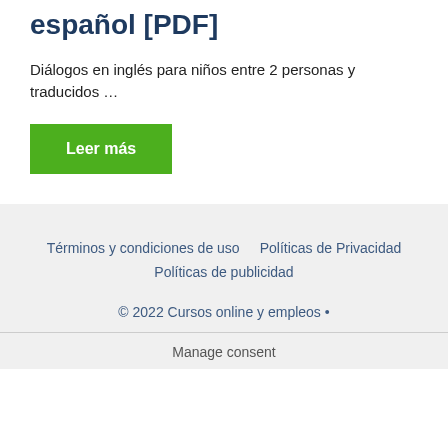español [PDF]
Diálogos en inglés para niños entre 2 personas y traducidos …
Leer más
Términos y condiciones de uso   Políticas de Privacidad   Políticas de publicidad   © 2022 Cursos online y empleos •
Manage consent